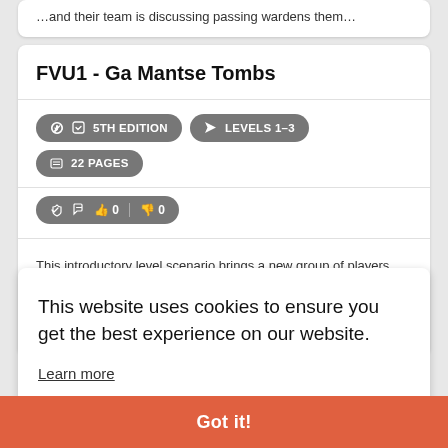…and their team is discussing passing wardens them…
FVU1 - Ga Mantse Tombs
5TH EDITION   LEVELS 1-3   22 PAGES   👍 0  👎 0
This introductory level scenario brings a new group of players into an area formerly controlled by the Tunnmaa Dynasty. This group of rulers was rich in gold and gems before collapsing. It is well known…
This website uses cookies to ensure you get the best experience on our website.
Learn more
…and the sinister plans of an unknown foe. When these elements combine, it's bad news for the good aligned cities of the Blood…
Got it!